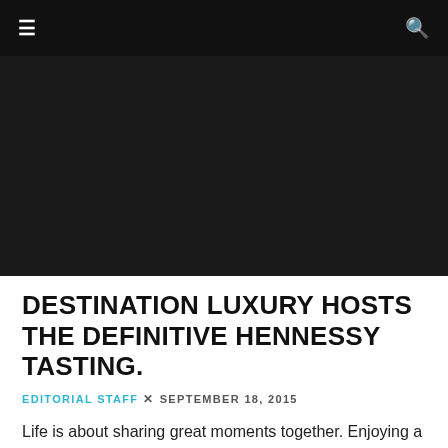≡   🔍
[Figure (photo): Dark/black hero image area, nearly fully dark background representing a photo placeholder]
DESTINATION LUXURY HOSTS THE DEFINITIVE HENNESSY TASTING.
EDITORIAL STAFF × SEPTEMBER 18, 2015
Life is about sharing great moments together. Enjoying a glass of Hennessy is a decadent experience in itself. Destination Luxury is known for curating unique events around the world and we had the pleasure of hosting an event at Homeira and Arnold Goldstein's